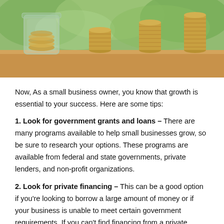[Figure (photo): Photo of stacked coins and a glass jar filled with coins on a wooden surface with a green blurred background]
Now, As a small business owner, you know that growth is essential to your success. Here are some tips:
1. Look for government grants and loans – There are many programs available to help small businesses grow, so be sure to research your options. These programs are available from federal and state governments, private lenders, and non-profit organizations.
2. Look for private financing – This can be a good option if you're looking to borrow a large amount of money or if your business is unable to meet certain government requirements. If you can't find financing from a private